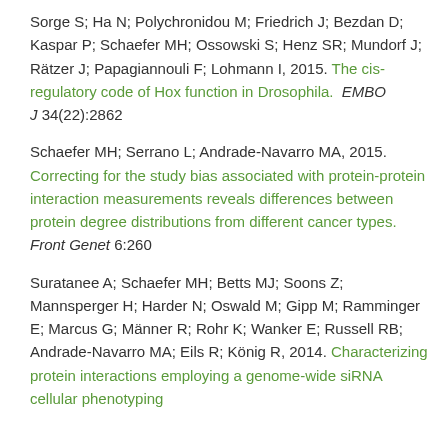Sorge S; Ha N; Polychronidou M; Friedrich J; Bezdan D; Kaspar P; Schaefer MH; Ossowski S; Henz SR; Mundorf J; Rätzer J; Papagiannouli F; Lohmann I, 2015. The cis-regulatory code of Hox function in Drosophila. EMBO J 34(22):2862
Schaefer MH; Serrano L; Andrade-Navarro MA, 2015. Correcting for the study bias associated with protein-protein interaction measurements reveals differences between protein degree distributions from different cancer types. Front Genet 6:260
Suratanee A; Schaefer MH; Betts MJ; Soons Z; Mannsperger H; Harder N; Oswald M; Gipp M; Ramminger E; Marcus G; Männer R; Rohr K; Wanker E; Russell RB; Andrade-Navarro MA; Eils R; König R, 2014. Characterizing protein interactions employing a genome-wide siRNA cellular phenotyping screen. PLoS Comput Biol 10(9):e1003814